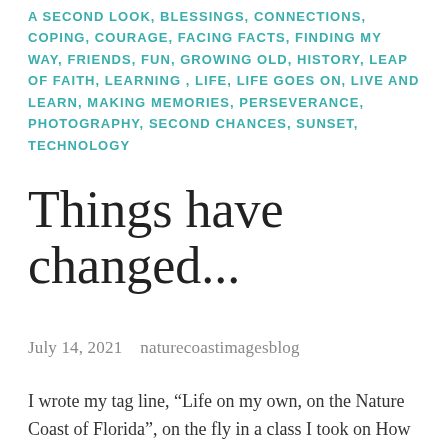A SECOND LOOK, BLESSINGS, CONNECTIONS, COPING, COURAGE, FACING FACTS, FINDING MY WAY, FRIENDS, FUN, GROWING OLD, HISTORY, LEAP OF FAITH, LEARNING, LIFE, LIFE GOES ON, LIVE AND LEARN, MAKING MEMORIES, PERSEVERANCE, PHOTOGRAPHY, SECOND CHANCES, SUNSET, TECHNOLOGY
Things have changed...
July 14, 2021   naturecoastimagesblog
I wrote my tag line, “Life on my own, on the Nature Coast of Florida”, on the fly in a class I took on How to Start a Blog. We walked out of that two hour class with the bones of a blog in our laptops, all we had to do was write, so I did. And I have enjoyed it a lot. But lately I have been feeling like a bit of a